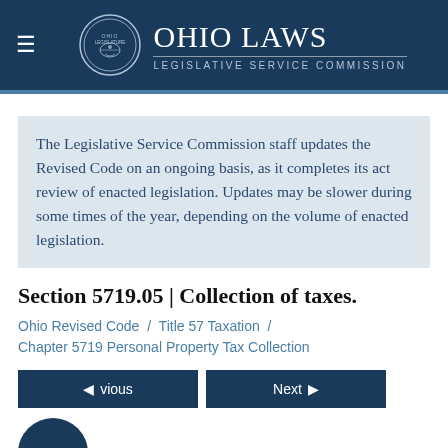Ohio Laws — Legislative Service Commission
The Legislative Service Commission staff updates the Revised Code on an ongoing basis, as it completes its act review of enacted legislation. Updates may be slower during some times of the year, depending on the volume of enacted legislation.
Section 5719.05 | Collection of taxes.
Ohio Revised Code / Title 57 Taxation / Chapter 5719 Personal Property Tax Collection
Effective: March 31, 2003